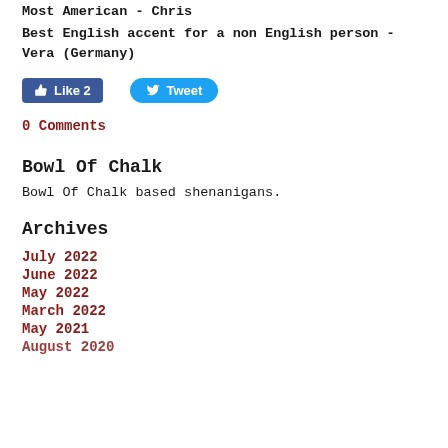Most American - Chris
Best English accent for a non English person - Vera (Germany)
[Figure (other): Facebook Like button showing count of 2 and Twitter Tweet button]
0 Comments
Bowl Of Chalk
Bowl Of Chalk based shenanigans.
Archives
July 2022
June 2022
May 2022
March 2022
May 2021
August 2020